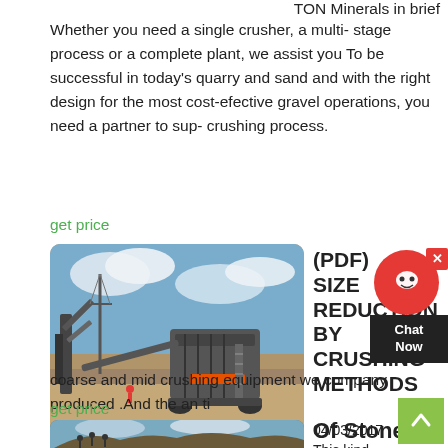TON Minerals in brief Whether you need a single crusher, a multi- stage process or a complete plant, we assist you To be successful in today’s quarry and sand and with the right design for the most cost-efective gravel operations, you need a partner to sup- crushing process.
get price
[Figure (photo): Outdoor photo of large mobile stone crushing equipment/machinery at a quarry site with blue sky and clouds]
(PDF) SIZE REDUCTION BY CRUSHING METHODS
04/03/2017 This kind of impact stone crusher is a kind of hig h-efficient strong coarse and mid crushing equipment we company produced .And the an ti
get price
[Figure (photo): People standing on a rocky hill/quarry with cloudy sky]
Of Stone Crushing Equipment In